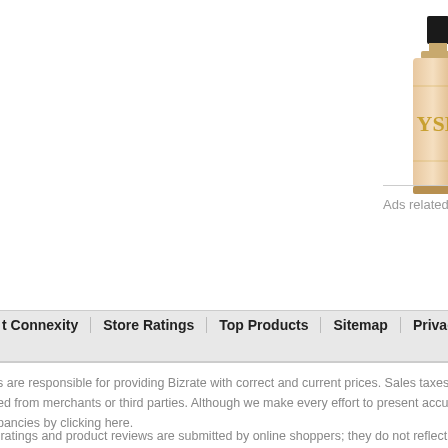[Figure (photo): YSL Libre Eau de Toilette perfume bottle product image]
Libre Eau de Toilette, Size: 1 F...
Fragrance Family: FloralsScent Type: Essence, Orange Blossom Absolute, W... The fragrance contains bursts of French blossom combined ... more
Product Info ▼
Ads related to y eau de parfum size 3.3 fl oz multicolor
t Connexity   Store Ratings   Top Products   Sitemap   Privacy Policy   User Agreement
es are responsible for providing Bizrate with correct and current prices. Sales taxes ar... ned from merchants or third parties. Although we make every effort to present accura... epancies by clicking here.
e ratings and product reviews are submitted by online shoppers; they do not reflect ou...
22 Connexity, Inc. / Bizrate is a division of Connexity, Inc.